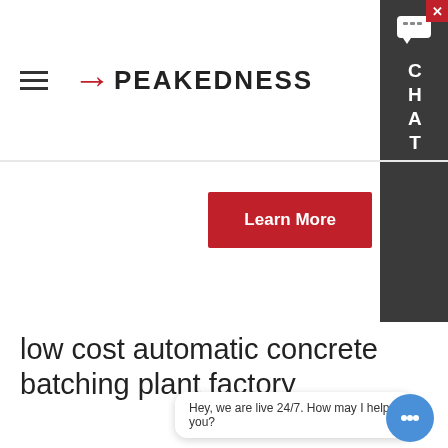PEAKEDNESS
low cost automatic concrete batching plant factory
[Figure (photo): Industrial concrete batching plant with large blue cylindrical silos and towers against a clear blue sky. Chinese characters visible on the main silo.]
Hey, we are live 24/7. How may I help you?